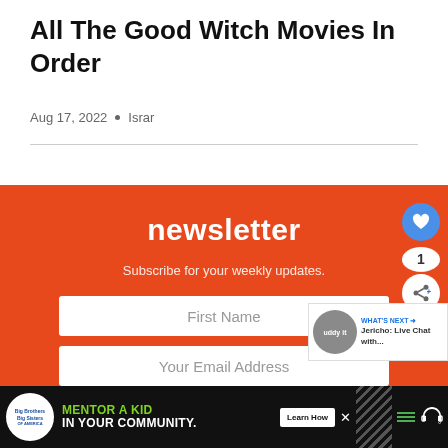All The Good Witch Movies In Order
Aug 17, 2022 • Israr
[Figure (infographic): Newsletter signup widget on orange/red background with 'newsletter' title, 'Subscribe for your weekly updates.' subtitle, First Name input field, and Your Email Address input field. Floating action buttons on right side including a heart icon and share icon with count of 1. A 'What's Next' widget showing 'Jericho: Live Chat with...']
[Figure (infographic): Advertisement banner with Big Brothers Big Sisters logo on black background, text 'MENTOR A KID IN YOUR COMMUNITY.' in green/white, Learn How button, decorative diagonal stripe pattern, hamburger menu icon, and headphones icon]